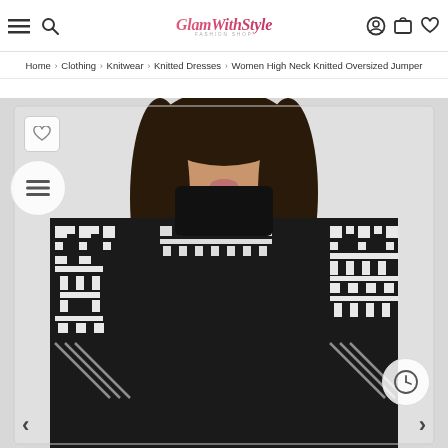GlamWithStyle Fashion Shop — navigation header with hamburger menu, search icon, logo, user icon, cart icon, and heart/wishlist icon
Home > Clothing > Knitwear > Knitted Dresses > Women High Neck Knitted Oversized Jumper
[Figure (photo): Woman wearing a black oversized knitted jumper with white geometric/Greek key pattern on the shoulders and sleeves. Dark hair, partial face visible. White background. Wishlist heart button top-left, list icon below it, clock/timer icon bottom-right, left/right navigation arrows at bottom.]